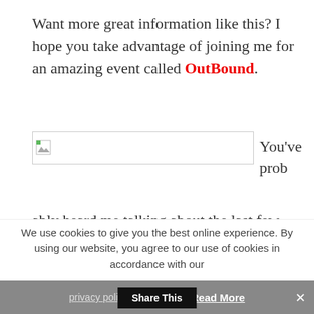Want more great information like this? I hope you take advantage of joining me for an amazing event called OutBound.
[Figure (other): Broken image placeholder (horizontal bar with broken image icon)]
You've probably heard me talking about the last few months, but I'm going to keep talking about it because you need to be there!
We use cookies to give you the best online experience. By using our website, you agree to our use of cookies in accordance with our
privacy policy. Accept Read More
Share This